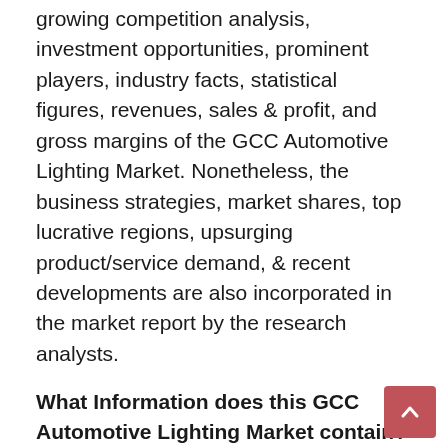growing competition analysis, investment opportunities, prominent players, industry facts, statistical figures, revenues, sales & profit, and gross margins of the GCC Automotive Lighting Market. Nonetheless, the business strategies, market shares, top lucrative regions, upsurging product/service demand, & recent developments are also incorporated in the market report by the research analysts.
What Information does this GCC Automotive Lighting Market contain?
-The analysis of the previous year generated in the historic years of 2021-2026, the existing scenario, trends, & ongoing statistics of the market & estimation of the prospect of the